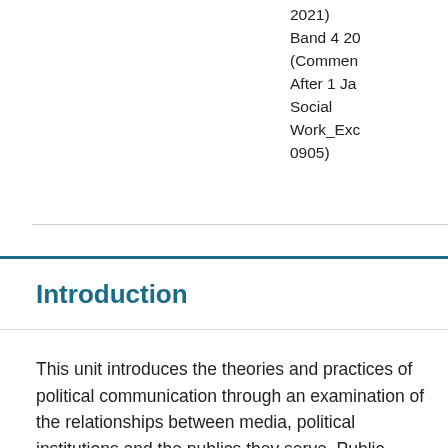2021)
Band 4 20
(Commen
After 1 Ja
Social
Work_Exc
0905)
Introduction
This unit introduces the theories and practices of political communication through an examination of the relationships between media, political institutions and the publics they serve. Public affairs practitioners need to know how media work in the context of 'mediatized' politics and how citizens, journalists and politicians use political